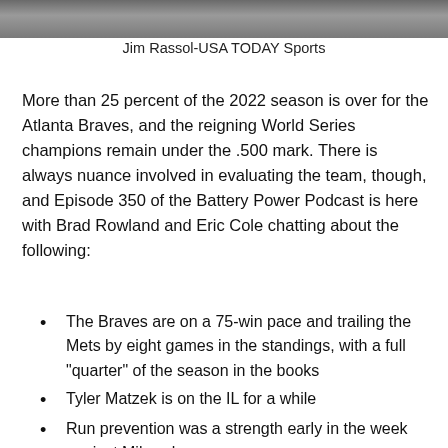[Figure (photo): Partial photo strip at top of page showing sports/baseball imagery]
Jim Rassol-USA TODAY Sports
More than 25 percent of the 2022 season is over for the Atlanta Braves, and the reigning World Series champions remain under the .500 mark. There is always nuance involved in evaluating the team, though, and Episode 350 of the Battery Power Podcast is here with Brad Rowland and Eric Cole chatting about the following:
The Braves are on a 75-win pace and trailing the Mets by eight games in the standings, with a full “quarter” of the season in the books
Tyler Matzek is on the IL for a while
Run prevention was a strength early in the week against Milwaukee
Atlanta made a bit of history with a maddening loss on Wednesday